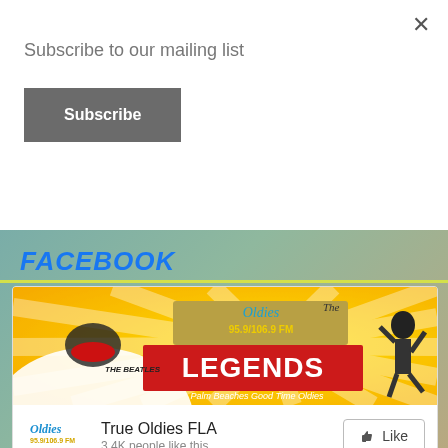Subscribe to our mailing list
Subscribe
FACEBOOK
[Figure (screenshot): Facebook page embed for True Oldies FLA radio station showing banner image with Oldies 95.9/106.9 FM Legends branding, profile logo, page name, 3.4K likes, Like button, and a second post row with True Oldies FLA name and Facebook icon.]